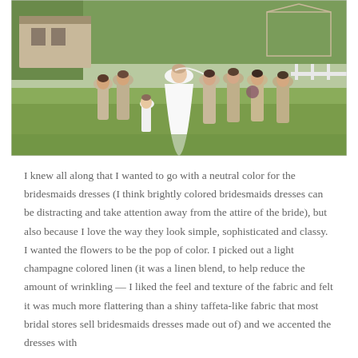[Figure (photo): Outdoor wedding photo showing a bride in a white gown with bridesmaids in light champagne/taupe short dresses, standing on a green lawn with trees and a structure in the background. A small flower girl in white is also present.]
I knew all along that I wanted to go with a neutral color for the bridesmaids dresses (I think brightly colored bridesmaids dresses can be distracting and take attention away from the attire of the bride), but also because I love the way they look simple, sophisticated and classy. I wanted the flowers to be the pop of color. I picked out a light champagne colored linen (it was a linen blend, to help reduce the amount of wrinkling — I liked the feel and texture of the fabric and felt it was much more flattering than a shiny taffeta-like fabric that most bridal stores sell bridesmaids dresses made out of) and we accented the dresses with